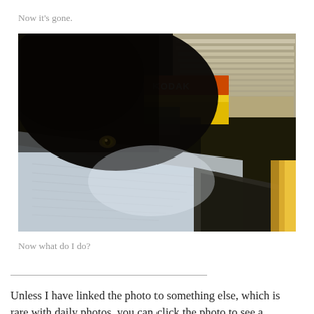Now it's gone.
[Figure (photo): A black cat peering over a desk covered with papers, envelopes, a yellow Kodak film box with orange label, a stack of papers/envelopes, a dark triangular object, and a gold-colored book or folder. The cat is in the upper left, mostly dark/silhouetted.]
Now what do I do?
Unless I have linked the photo to something else, which is rare with daily photos, you can click the photo to see a